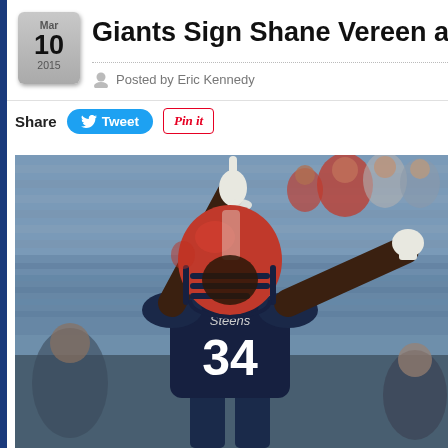Giants Sign Shane Vereen and Jon…
Posted by Eric Kennedy
Share   Tweet   Pin it
[Figure (photo): NFL football player wearing New England Patriots uniform number 34, celebrating with both arms raised, pointing finger up, wearing navy blue jersey and red helmet, crowd visible in background in stadium setting]